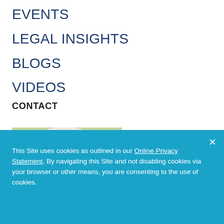EVENTS
LEGAL INSIGHTS
BLOGS
VIDEOS
CONTACT
[Figure (photo): Top of a person's head with light/white hair, partially cropped, with a blurred green/outdoor background]
This Site uses cookies as outlined in our Online Privacy Statement. By navigating this Site and not disabling cookies via your browser or other means, you are consenting to the use of cookies.